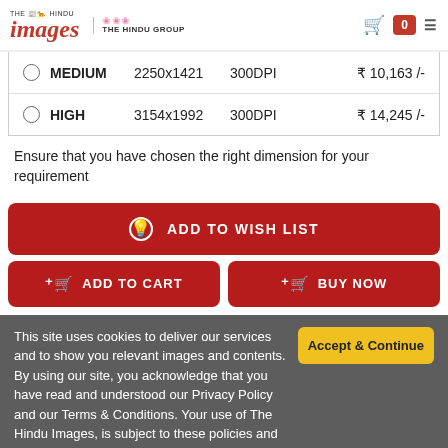THE HINDU images / THE HINDU GROUP
| MEDIUM | 2250x1421 | 300DPI | ₹ 10,163 /- |
| HIGH | 3154x1992 | 300DPI | ₹ 14,245 /- |
Ensure that you have chosen the right dimension for your requirement
ADD TO WISH LIST
ADD TO CART
BUY NOW
This site uses cookies to deliver our services and to show you relevant images and contents. By using our site, you acknowledge that you have read and understood our Privacy Policy and our Terms & Conditions. Your use of The Hindu Images, is subject to these policies and terms. More info